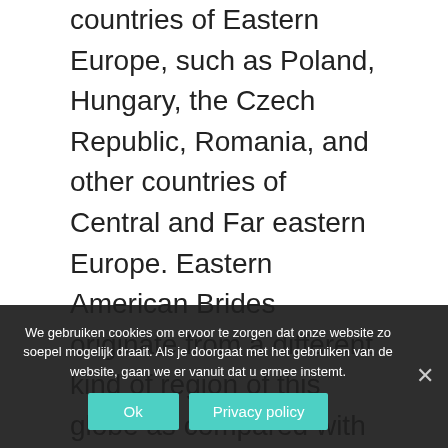countries of Eastern Europe, such as Poland, Hungary, the Czech Republic, Romania, and other countries of Central and Far eastern Europe. Eastern American Brides originate from a different kind of region of this globe as compared with Western https://newbrides.net/europe/latvian-brides/ European and other parts of the planet. For instance, if you were originally out of Russia, you can tend to opt to marry an eastern european bride. However are some Russian brides, you can also get Western Europeans and Asians among the amount who like to marry an european bride. Eastern European brides can also preference somebody by name so who are from Western Europe and other elements of Europe, Asia, North America, and Australia.
We gebruiken cookies om ervoor te zorgen dat onze website zo soepel mogelijk draait. Als je doorgaat met het gebruiken van de website, gaan we er vanuit dat u ermee instemt.